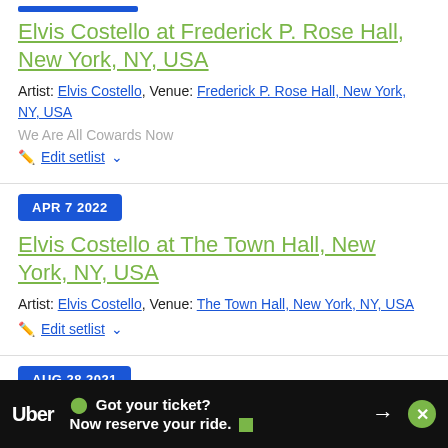Elvis Costello at Frederick P. Rose Hall, New York, NY, USA
Artist: Elvis Costello, Venue: Frederick P. Rose Hall, New York, NY, USA
We Are All Cowards Now
Edit setlist
APR 7 2022
Elvis Costello at The Town Hall, New York, NY, USA
Artist: Elvis Costello, Venue: The Town Hall, New York, NY, USA
Edit setlist
AUG 28 2021
Elvis Costello at Memorial Park ... IE, USA
[Figure (screenshot): Uber advertisement banner at bottom: Got your ticket? Now reserve your ride.]